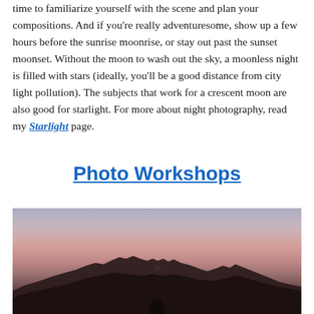time to familiarize yourself with the scene and plan your compositions. And if you're really adventuresome, show up a few hours before the sunrise moonrise, or stay out past the sunset moonset. Without the moon to wash out the sky, a moonless night is filled with stars (ideally, you'll be a good distance from city light pollution). The subjects that work for a crescent moon are also good for starlight. For more about night photography, read my Starlight page.
Photo Workshops
[Figure (photo): Landscape photo showing a desert mountain range silhouette at dusk/twilight with pink and purple sky gradient, a small white moon visible just above the mountain ridgeline, and a partial view of a person at the bottom.]